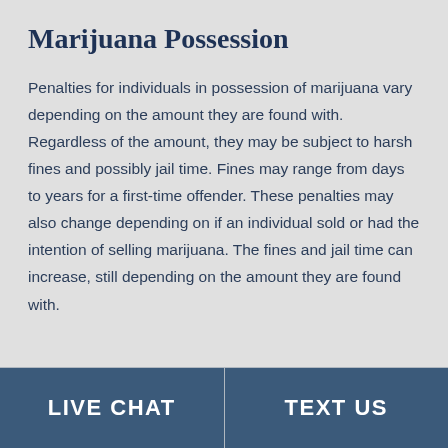Marijuana Possession
Penalties for individuals in possession of marijuana vary depending on the amount they are found with. Regardless of the amount, they may be subject to harsh fines and possibly jail time. Fines may range from days to years for a first-time offender. These penalties may also change depending on if an individual sold or had the intention of selling marijuana. The fines and jail time can increase, still depending on the amount they are found with.
LIVE CHAT | TEXT US